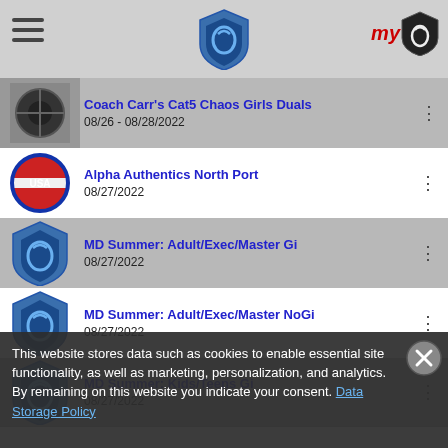Header bar with hamburger menu, shield logo, and myTJ logo
Coach Carr's Cat5 Chaos Girls Duals
08/26 - 08/28/2022
Alpha Authentics North Port
08/27/2022
MD Summer: Adult/Exec/Master Gi
08/27/2022
MD Summer: Adult/Exec/Master NoGi
08/27/2022
MD Summer: Kids/Teens Gi
08/27/2022
MD Summer: Kids/Teens NoGi
08/27/2022
This website stores data such as cookies to enable essential site functionality, as well as marketing, personalization, and analytics. By remaining on this website you indicate your consent. Data Storage Policy
WSWA 14U Prospect Camp-August
08/27/2022